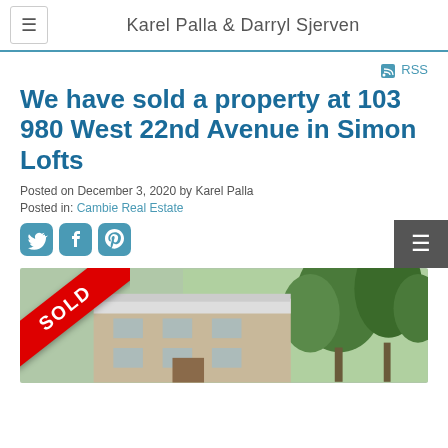Karel Palla & Darryl Sjerven
RSS
We have sold a property at 103 980 West 22nd Avenue in Simon Lofts
Posted on December 3, 2020 by Karel Palla
Posted in: Cambie Real Estate
[Figure (screenshot): Social media share icons: Twitter, Facebook, Pinterest]
[Figure (photo): Exterior photo of a property building with a red SOLD diagonal banner in the top-left corner. Trees visible in background.]